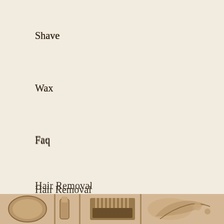Shave
Wax
Faq
Hair Removal
Laser
Self Shaving Your Back
[Figure (photo): Sepia-toned vintage illustration of grooming tools including a comb, mirror, and decorative items arranged in a horizontal band at the bottom of the page.]